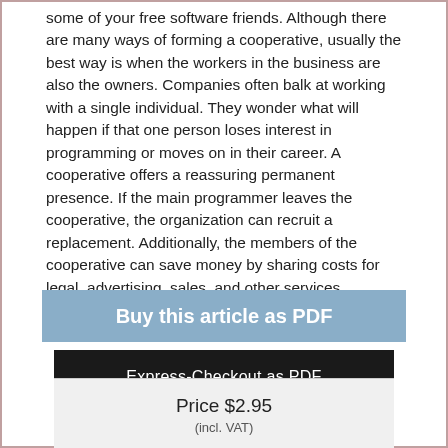some of your free software friends. Although there are many ways of forming a cooperative, usually the best way is when the workers in the business are also the owners. Companies often balk at working with a single individual. They wonder what will happen if that one person loses interest in programming or moves on in their career. A cooperative offers a reassuring permanent presence. If the main programmer leaves the cooperative, the organization can recruit a replacement. Additionally, the members of the cooperative can save money by sharing costs for legal, advertising, sales, and other services.
Buy this article as PDF
Express-Checkout as PDF
Price $2.95
(incl. VAT)